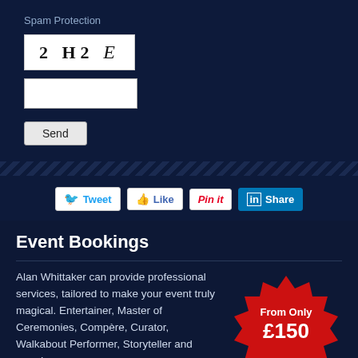Spam Protection
[Figure (other): CAPTCHA image showing '2 H2 E' in mixed bold and italic serif font on white background]
[Figure (other): Text input box for CAPTCHA answer]
[Figure (other): Send button]
[Figure (other): Social sharing buttons: Tweet, Like, Pin it, Share]
Event Bookings
Alan Whittaker can provide professional services, tailored to make your event truly magical. Entertainer, Master of Ceremonies, Compère, Curator, Walkabout Performer, Storyteller and more! All from only £150 for up-to 3 days.
[Figure (infographic): Red starburst badge with white text: 'From Only £150']